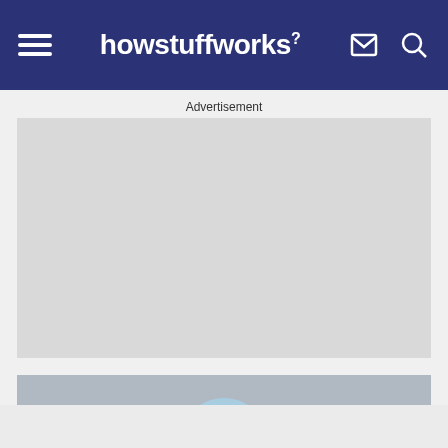howstuffworks
Advertisement
[Figure (other): Gray advertisement placeholder box]
[Figure (photo): Partial photo visible at bottom of page, appears to show a light blue rounded object against a gray textured background]